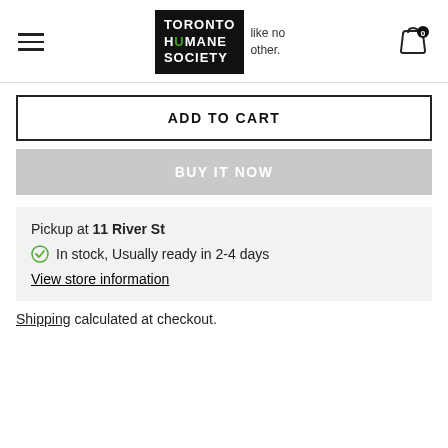[Figure (logo): Toronto Humane Society logo with tagline 'like no other.']
ADD TO CART
BUY IT NOW
Pickup at 11 River St
In stock, Usually ready in 2-4 days
View store information
Shipping calculated at checkout.